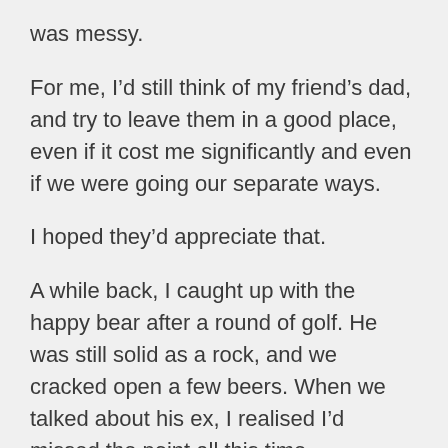was messy.
For me, I’d still think of my friend’s dad, and try to leave them in a good place, even if it cost me significantly and even if we were going our separate ways.
I hoped they’d appreciate that.
A while back, I caught up with the happy bear after a round of golf. He was still solid as a rock, and we cracked open a few beers. When we talked about his ex, I realised I’d missed the point all this time.
He didn’t do it expecting to be appreciated. He did it to avoid a long, drawn-out divorce.